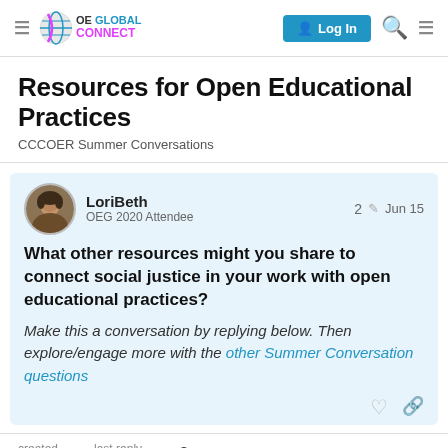OE GLOBAL CONNECT — Log In
Resources for Open Educational Practices
CCCOER Summer Conversations
LoriBeth
OEG 2020 Attendee
2  Jun 15
What other resources might you share to connect social justice in your work with open educational practices?
Make this a conversation by replying below. Then explore/engage more with the other Summer Conversation questions
created   last reply   6